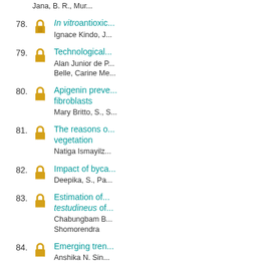Jana, B. R., Mur...
78. In vitroantioxic... | Ignace Kindo, J...
79. Technological... | Alan Junior de P... | Belle, Carine Me...
80. Apigenin preve... fibroblasts | Mary Britto, S., S...
81. The reasons o... vegetation | Natiga Ismayilz...
82. Impact of byca... | Deepika, S., Pa...
83. Estimation of... testudineus of... | Chabungbam B... | Shomorendra
84. Emerging tren... | Anshika N. Sin...